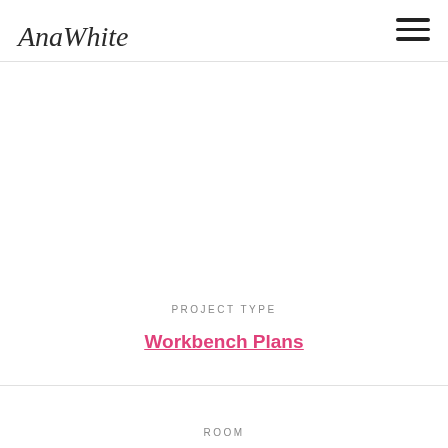AnaWhite [logo] / hamburger menu
PROJECT TYPE
Workbench Plans
ROOM